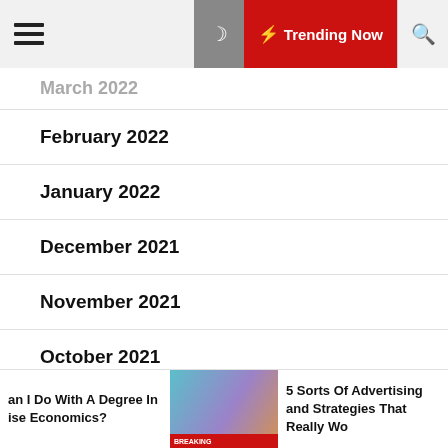Trending Now (navigation bar)
March 2022 (truncated)
February 2022
January 2022
December 2021
November 2021
October 2021
September 2021
August 2021 (truncated)
an I Do With A Degree In ise Economics? | 5 Sorts Of Advertising and Strategies That Really Wo